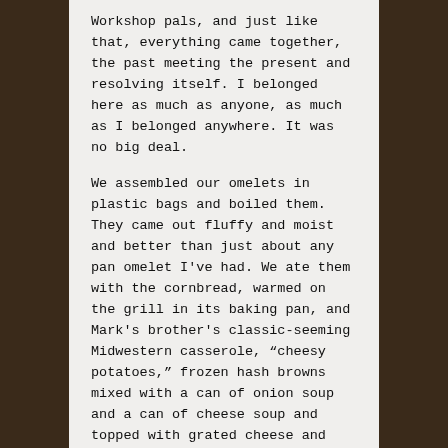Workshop pals, and just like that, everything came together, the past meeting the present and resolving itself. I belonged here as much as anyone, as much as I belonged anywhere. It was no big deal.
We assembled our omelets in plastic bags and boiled them. They came out fluffy and moist and better than just about any pan omelet I've had. We ate them with the cornbread, warmed on the grill in its baking pan, and Mark's brother's classic-seeming Midwestern casserole, “cheesy potatoes,” frozen hash browns mixed with a can of onion soup and a can of cheese soup and topped with grated cheese and baked. And we had chocolate-dipped strawberry Jello shots for dessert and Bloody Marys to keep us warm, and Deb's homemade salsa with corn chips to snack on.
By kickoff at 11:00, it had warmed up to eighteen